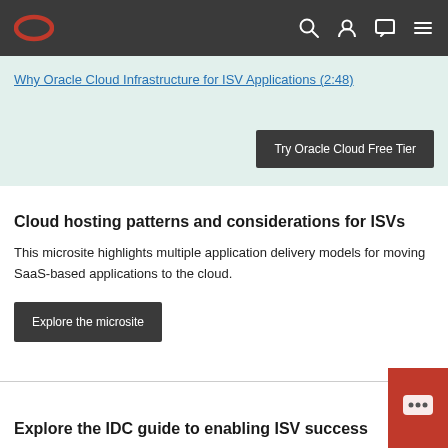Oracle navigation bar with logo and icons
Why Oracle Cloud Infrastructure for ISV Applications (2:48)
Try Oracle Cloud Free Tier
Cloud hosting patterns and considerations for ISVs
This microsite highlights multiple application delivery models for moving SaaS-based applications to the cloud.
Explore the microsite
Explore the IDC guide to enabling ISV success